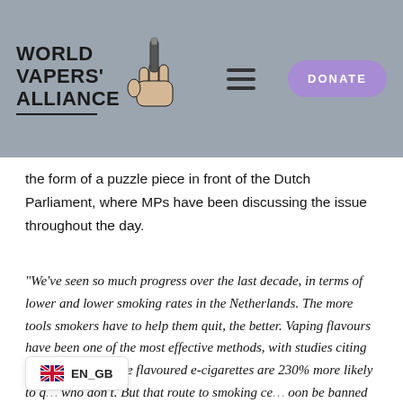World Vapers Alliance
the form of a puzzle piece in front of the Dutch Parliament, where MPs have been discussing the issue throughout the day.
“We’ve seen so much progress over the last decade, in terms of lower and lower smoking rates in the Netherlands. The more tools smokers have to help them quit, the better. Vaping flavours have been one of the most effective methods, with studies citing that those who vape flavoured e-cigarettes are 230% more likely to q… who don’t. But that route to smoking ce… oon be banned if people do not speak up